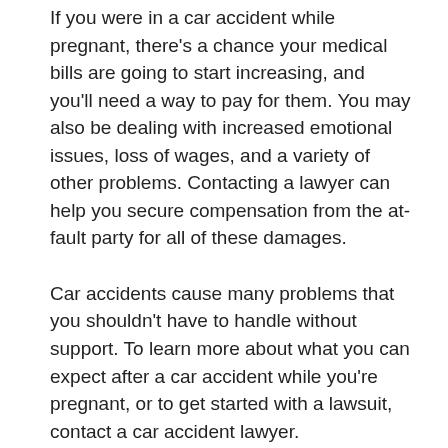If you were in a car accident while pregnant, there's a chance your medical bills are going to start increasing, and you'll need a way to pay for them. You may also be dealing with increased emotional issues, loss of wages, and a variety of other problems. Contacting a lawyer can help you secure compensation from the at-fault party for all of these damages.
Car accidents cause many problems that you shouldn't have to handle without support. To learn more about what you can expect after a car accident while you're pregnant, or to get started with a lawsuit, contact a car accident lawyer.